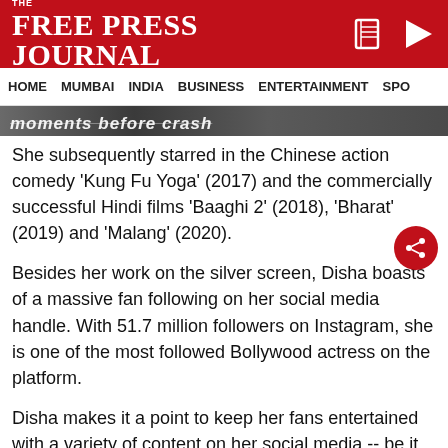THE FREE PRESS JOURNAL
HOME  MUMBAI  INDIA  BUSINESS  ENTERTAINMENT  SPO
[Figure (photo): Partial image strip with italic bold text partially visible reading 'moments before crash']
She subsequently starred in the Chinese action comedy 'Kung Fu Yoga' (2017) and the commercially successful Hindi films 'Baaghi 2' (2018), 'Bharat' (2019) and 'Malang' (2020).
Besides her work on the silver screen, Disha boasts of a massive fan following on her social media handle. With 51.7 million followers on Instagram, she is one of the most followed Bollywood actress on the platform.
Disha makes it a point to keep her fans entertained with a variety of content on her social media -- be it her vacation pictures, workout videos, sneak peek